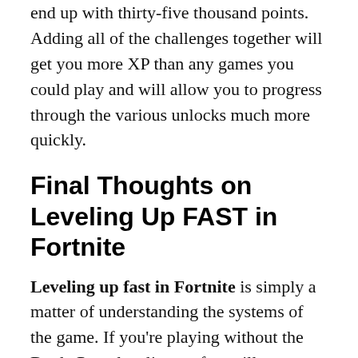end up with thirty-five thousand points. Adding all of the challenges together will get you more XP than any games you could play and will allow you to progress through the various unlocks much more quickly.
Final Thoughts on Leveling Up FAST in Fortnite
Leveling up fast in Fortnite is simply a matter of understanding the systems of the game. If you're playing without the Battle Pass, leveling up fast will mean playing as many games as possible and trying to outlast other players rather than trying to